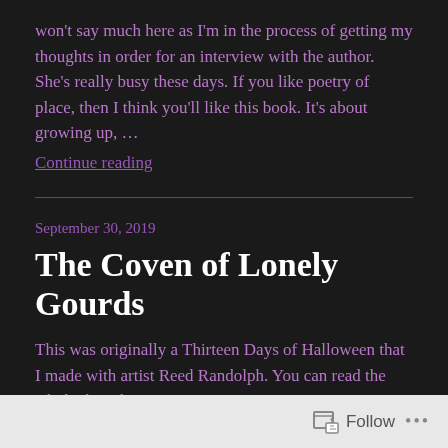won't say much here as I'm in the process of getting my thoughts in order for an interview with the author. She's really busy these days. If you like poetry of place, then I think you'll like this book. It's about growing up, …
Continue reading
September 30, 2019
The Coven of Lonely Gourds
This was originally a Thirteen Days of Halloween that I made with artist Reed Randolph. You can read the whole thing here.
Continue reading
Follow